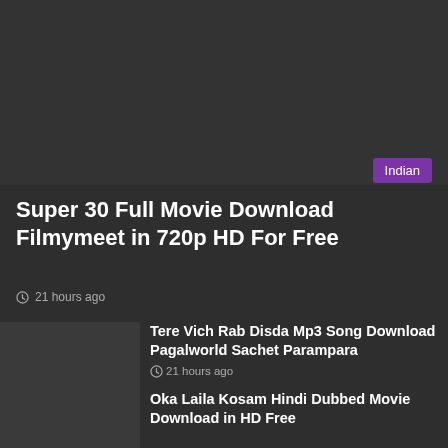[Figure (photo): Dark gray placeholder image area at top of page]
Indian
Super 30 Full Movie Download Filmymeet in 720p HD For Free
21 hours ago
[Figure (photo): Dark gray thumbnail placeholder]
Tere Vich Rab Disda Mp3 Song Download Pagalworld Sachet Parampara
21 hours ago
[Figure (photo): Dark gray thumbnail placeholder]
Oka Laila Kosam Hindi Dubbed Movie Download in HD Free